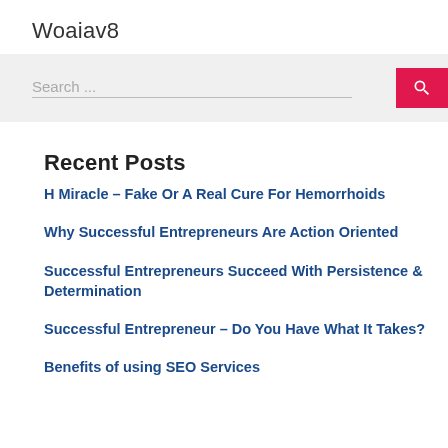Woaiav8
[Figure (screenshot): Search bar with text 'Search ...' and a pink/red search button with magnifying glass icon]
Recent Posts
H Miracle – Fake Or A Real Cure For Hemorrhoids
Why Successful Entrepreneurs Are Action Oriented
Successful Entrepreneurs Succeed With Persistence & Determination
Successful Entrepreneur – Do You Have What It Takes?
Benefits of using SEO Services